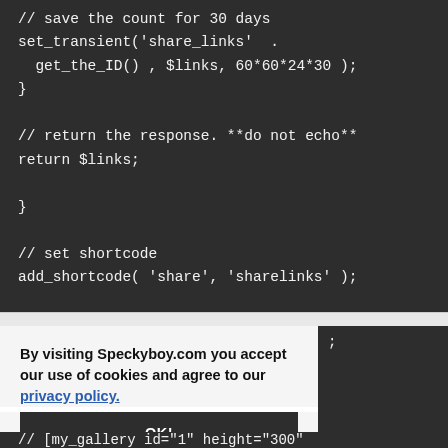[Figure (screenshot): Dark-themed code editor screenshot showing PHP code snippet with set_transient, get_the_ID, return $links, and add_shortcode function calls with comments]
By visiting Speckyboy.com you accept our use of cookies and agree to our privacy policy.
OK!
[Figure (screenshot): Partial dark code block visible at the bottom right of the page]